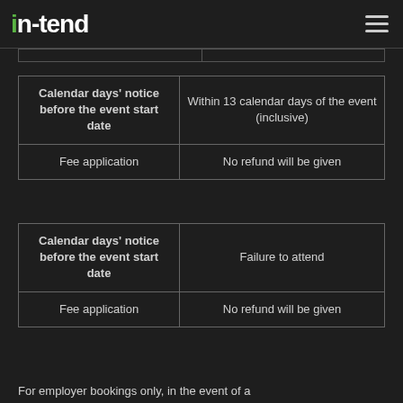in-tend
| Calendar days' notice before the event start date | Within 13 calendar days of the event (inclusive) |
| --- | --- |
| Fee application | No refund will be given |
| Calendar days' notice before the event start date | Failure to attend |
| --- | --- |
| Fee application | No refund will be given |
For employer bookings only, in the event of a